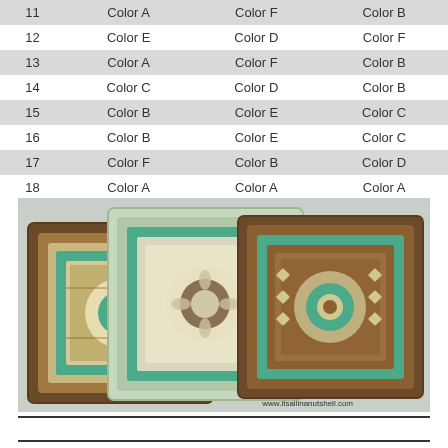|  |  |  |  |
| --- | --- | --- | --- |
| 11 | Color A | Color F | Color B |
| 12 | Color E | Color D | Color F |
| 13 | Color A | Color F | Color B |
| 14 | Color C | Color D | Color B |
| 15 | Color B | Color E | Color C |
| 16 | Color B | Color E | Color C |
| 17 | Color F | Color B | Color D |
| 18 | Color A | Color A | Color A |
[Figure (photo): Three crochet granny squares arranged overlapping, showing intricate floral and diamond patterns in brown, teal/turquoise, cream, and yellow-green colors. Watermark: www.itsallinanutshell.com]